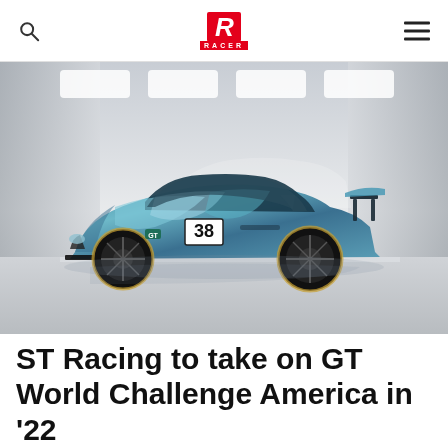RACER
[Figure (photo): A blue and teal artistic/livery BMW GT racing car with the number 38, shown in a studio garage setting with light panels on the ceiling. The car features a large rear wing and colorful painted bodywork.]
ST Racing to take on GT World Challenge America in '22